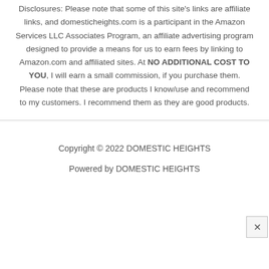Disclosures: Please note that some of this site's links are affiliate links, and domesticheights.com is a participant in the Amazon Services LLC Associates Program, an affiliate advertising program designed to provide a means for us to earn fees by linking to Amazon.com and affiliated sites. At NO ADDITIONAL COST TO YOU, I will earn a small commission, if you purchase them. Please note that these are products I know/use and recommend to my customers. I recommend them as they are good products.
Copyright © 2022 DOMESTIC HEIGHTS
Powered by DOMESTIC HEIGHTS